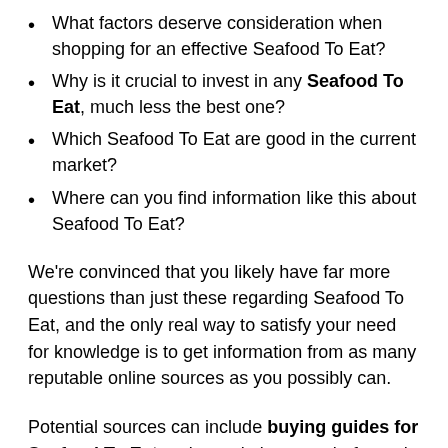What factors deserve consideration when shopping for an effective Seafood To Eat?
Why is it crucial to invest in any Seafood To Eat, much less the best one?
Which Seafood To Eat are good in the current market?
Where can you find information like this about Seafood To Eat?
We're convinced that you likely have far more questions than just these regarding Seafood To Eat, and the only real way to satisfy your need for knowledge is to get information from as many reputable online sources as you possibly can.
Potential sources can include buying guides for Seafood To Eat, rating websites, word-of-mouth testimonials, online forums, and product reviews. Thorough and mindful research is crucial to making sure you get your hands on the best